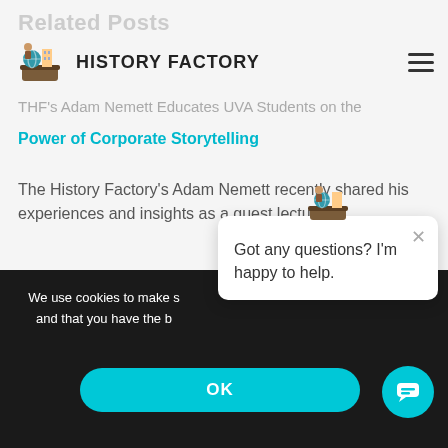Related Posts
[Figure (logo): History Factory logo with mascot figurine and brand name text 'HISTORY FACTORY', plus hamburger menu icon]
THF's Adam Nemett Educates UVA Students on the Power of Corporate Storytelling
The History Factory's Adam Nemett recently shared his experiences and insights as a guest lecturer...
We use cookies to make s... and that you have the b...
[Figure (screenshot): Chat popup with mascot icon, close button (x), and text: Got any questions? I'm happy to help.]
OK
[Figure (other): Teal circular chat button with speech bubble icon]